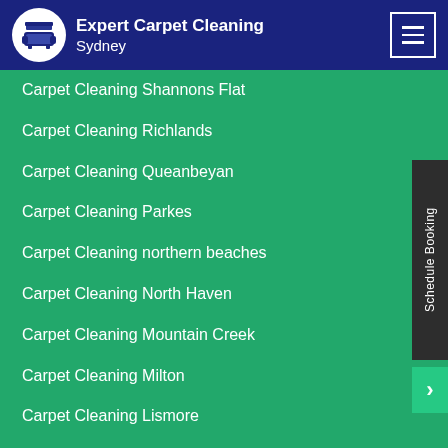Expert Carpet Cleaning Sydney
Carpet Cleaning Shannons Flat
Carpet Cleaning Richlands
Carpet Cleaning Queanbeyan
Carpet Cleaning Parkes
Carpet Cleaning northern beaches
Carpet Cleaning North Haven
Carpet Cleaning Mountain Creek
Carpet Cleaning Milton
Carpet Cleaning Lismore
Carpet Cleaning Lawrence